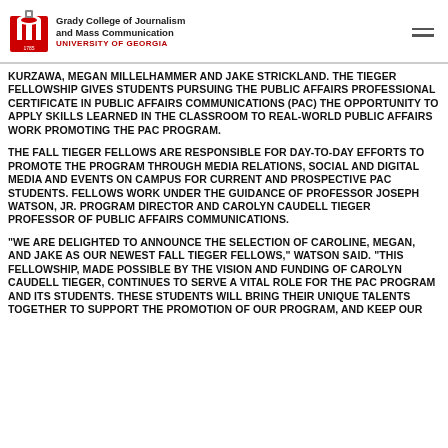Grady College of Journalism and Mass Communication UNIVERSITY OF GEORGIA
KURZAWA, MEGAN MILLELHAMMER AND JAKE STRICKLAND. THE TIEGER FELLOWSHIP GIVES STUDENTS PURSUING THE PUBLIC AFFAIRS PROFESSIONAL CERTIFICATE IN PUBLIC AFFAIRS COMMUNICATIONS (PAC) THE OPPORTUNITY TO APPLY SKILLS LEARNED IN THE CLASSROOM TO REAL-WORLD PUBLIC AFFAIRS WORK PROMOTING THE PAC PROGRAM.
THE FALL TIEGER FELLOWS ARE RESPONSIBLE FOR DAY-TO-DAY EFFORTS TO PROMOTE THE PROGRAM THROUGH MEDIA RELATIONS, SOCIAL AND DIGITAL MEDIA AND EVENTS ON CAMPUS FOR CURRENT AND PROSPECTIVE PAC STUDENTS. FELLOWS WORK UNDER THE GUIDANCE OF PROFESSOR JOSEPH WATSON, JR. PROGRAM DIRECTOR AND CAROLYN CAUDELL TIEGER PROFESSOR OF PUBLIC AFFAIRS COMMUNICATIONS.
"WE ARE DELIGHTED TO ANNOUNCE THE SELECTION OF CAROLINE, MEGAN, AND JAKE AS OUR NEWEST FALL TIEGER FELLOWS," WATSON SAID. "THIS FELLOWSHIP, MADE POSSIBLE BY THE VISION AND FUNDING OF CAROLYN CAUDELL TIEGER, CONTINUES TO SERVE A VITAL ROLE FOR THE PAC PROGRAM AND ITS STUDENTS. THESE STUDENTS WILL BRING THEIR UNIQUE TALENTS TOGETHER TO SUPPORT THE PROMOTION OF OUR PROGRAM, AND KEEP OUR